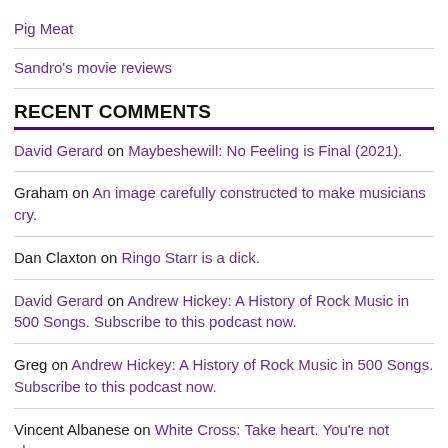Pig Meat
Sandro's movie reviews
RECENT COMMENTS
David Gerard on Maybeshewill: No Feeling is Final (2021).
Graham on An image carefully constructed to make musicians cry.
Dan Claxton on Ringo Starr is a dick.
David Gerard on Andrew Hickey: A History of Rock Music in 500 Songs. Subscribe to this podcast now.
Greg on Andrew Hickey: A History of Rock Music in 500 Songs. Subscribe to this podcast now.
Vincent Albanese on White Cross: Take heart. You're not alone.